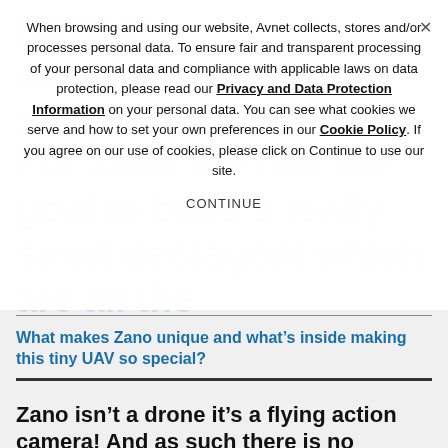When browsing and using our website, Avnet collects, stores and/or processes personal data. To ensure fair and transparent processing of your personal data and compliance with applicable laws on data protection, please read our Privacy and Data Protection Information on your personal data. You can see what cookies we serve and how to set your own preferences in our Cookie Policy. If you agree on our use of cookies, please click on Continue to use our site.
CONTINUE
What makes Zano unique and what's inside making this tiny UAV so special?
Zano isn't a drone it's a flying action camera! And as such there is no competition out there right now. While